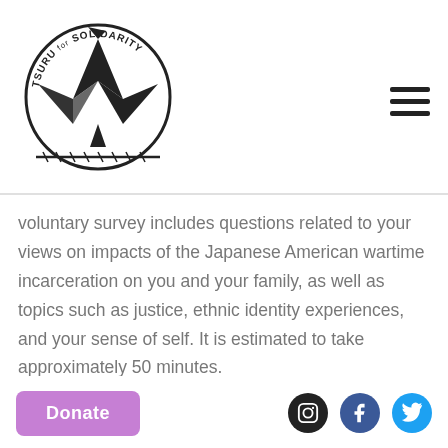[Figure (logo): Tsuru for Solidarity circular logo with origami crane and barbed wire, black and white]
voluntary survey includes questions related to your views on impacts of the Japanese American wartime incarceration on you and your family, as well as topics such as justice, ethnic identity experiences, and your sense of self. It is estimated to take approximately 50 minutes.
Eligibility:
· · · — · · · — · · —